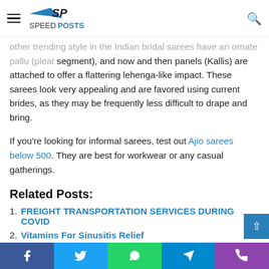Speed Posts
other trending style in the Indian bridal sarees have an ornate pallu (pleat segment), and now and then panels (Kallis) are attached to offer a flattering lehenga-like impact. These sarees look very appealing and are favored using current brides, as they may be frequently less difficult to drape and bring.
If you're looking for informal sarees, test out Ajio sarees below 500. They are best for workwear or any casual gatherings.
Related Posts:
FREIGHT TRANSPORTATION SERVICES DURING COVID
Vitamins For Sinusitis Relief